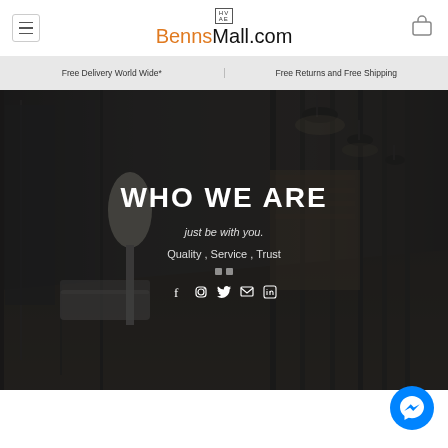BennsMall.com
Free Delivery World Wide* | Free Returns and Free Shipping
[Figure (photo): Dark interior photo of a modern hallway/lobby with glass walls, pendant lights, and a floor lamp with sofa visible]
WHO WE ARE
just be with you.
Quality , Service , Trust